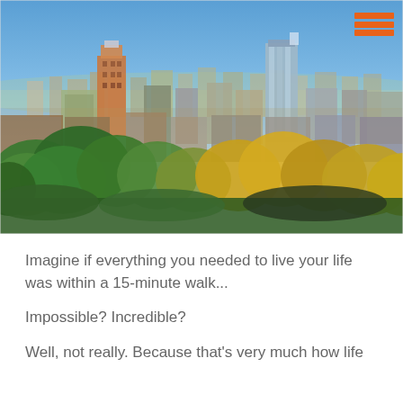[Figure (photo): Aerial panoramic view of a city skyline (Leeds) with tall buildings visible above a foreground of green and yellow autumn trees under a blue sky. An orange hamburger menu icon is overlaid in the top-right corner.]
Imagine if everything you needed to live your life was within a 15-minute walk...
Impossible? Incredible?
Well, not really. Because that's very much how life